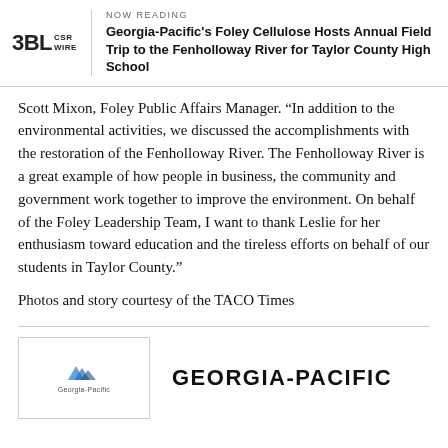NOW READING | Georgia-Pacific's Foley Cellulose Hosts Annual Field Trip to the Fenholloway River for Taylor County High School
Scott Mixon, Foley Public Affairs Manager. “In addition to the environmental activities, we discussed the accomplishments with the restoration of the Fenholloway River. The Fenholloway River is a great example of how people in business, the community and government work together to improve the environment. On behalf of the Foley Leadership Team, I want to thank Leslie for her enthusiasm toward education and the tireless efforts on behalf of our students in Taylor County.”
Photos and story courtesy of the TACO Times
[Figure (logo): Georgia-Pacific company logo with small mountain/triangle icon and text 'Georgia-Pacific' below]
GEORGIA-PACIFIC